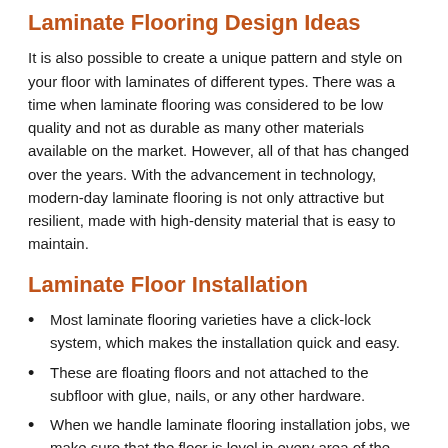Laminate Flooring Design Ideas
It is also possible to create a unique pattern and style on your floor with laminates of different types. There was a time when laminate flooring was considered to be low quality and not as durable as many other materials available on the market. However, all of that has changed over the years. With the advancement in technology, modern-day laminate flooring is not only attractive but resilient, made with high-density material that is easy to maintain.
Laminate Floor Installation
Most laminate flooring varieties have a click-lock system, which makes the installation quick and easy.
These are floating floors and not attached to the subfloor with glue, nails, or any other hardware.
When we handle laminate flooring installation jobs, we make sure that the floor is level in every area of the room.
We then install either a rubber of foam underlay to lend it some support. The material used for the underlay will depend